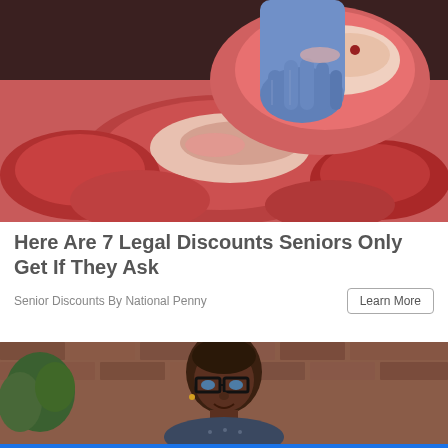[Figure (photo): A hand wearing a purple/blue latex glove holding up a large cut of raw red meat above a display of various cuts of raw beef at a butcher shop or market.]
Here Are 7 Legal Discounts Seniors Only Get If They Ask
Senior Discounts By National Penny
[Figure (photo): A man with glasses and short hair smiling, photographed against a brick wall background with some greenery visible.]